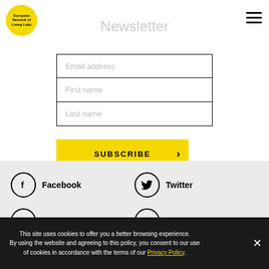[Figure (logo): European Network of Living Labs yellow circular logo]
Newsletter
[Figure (other): Hamburger menu icon (three horizontal lines)]
Email address
First name
Last name
SUBSCRIBE
Facebook
Twitter
Linked in
Flickr
This site uses cookies to offer you a better browsing experience. By using the website and agreeing to this policy, you consent to our use of cookies in accordance with the terms of our Privacy Policy.